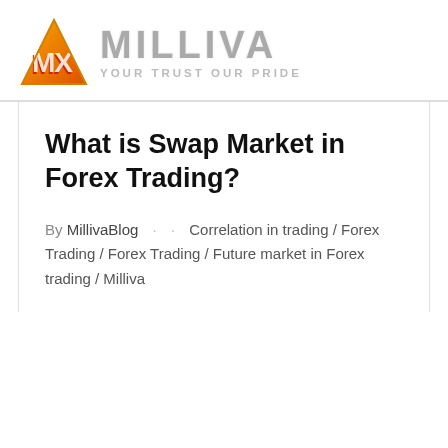MILLIVA — YOUR TRUST OUR PRIDE
What is Swap Market in Forex Trading?
By MillivaBlog · · Correlation in trading / Forex Trading / Forex Trading / Future market in Forex trading / Milliva